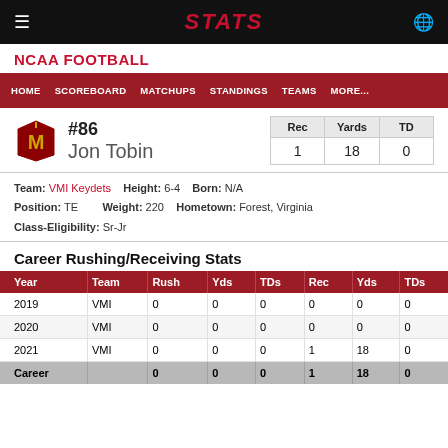STATS
NCAA FOOTBALL
HOME  SCOREBOARD  MATCHUPS  STANDINGS  TEAMS  MORE...
#86 Jon Tobin — Rec: 1, Yards: 18, TD: 0
Team: VMI Keydets  Height: 6-4  Born: N/A  Position: TE  Weight: 220  Hometown: Forest, Virginia  Class-Eligibility: Sr-Jr
Career Rushing/Receiving Stats
| Year | Team | Rush | Yds | TDs | Rec | Yds | TDs |
| --- | --- | --- | --- | --- | --- | --- | --- |
| 2019 | VMI | 0 | 0 | 0 | 0 | 0 | 0 |
| 2020 | VMI | 0 | 0 | 0 | 0 | 0 | 0 |
| 2021 | VMI | 0 | 0 | 0 | 1 | 18 | 0 |
| Career |  | 0 | 0 | 0 | 1 | 18 | 0 |